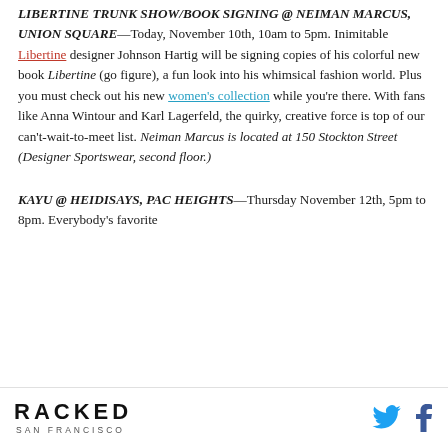LIBERTINE TRUNK SHOW/BOOK SIGNING @ NEIMAN MARCUS, UNION SQUARE—Today, November 10th, 10am to 5pm. Inimitable Libertine designer Johnson Hartig will be signing copies of his colorful new book Libertine (go figure), a fun look into his whimsical fashion world. Plus you must check out his new women's collection while you're there. With fans like Anna Wintour and Karl Lagerfeld, the quirky, creative force is top of our can't-wait-to-meet list. Neiman Marcus is located at 150 Stockton Street (Designer Sportswear, second floor.)
KAYU @ HEIDISAYS, PAC HEIGHTS—Thursday November 12th, 5pm to 8pm. Everybody's favorite
RACKED SAN FRANCISCO